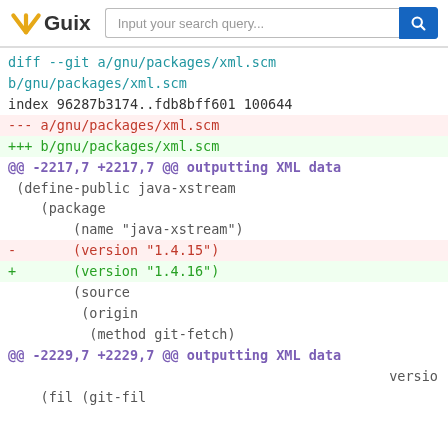Guix — Input your search query...
diff --git a/gnu/packages/xml.scm b/gnu/packages/xml.scm
index 96287b3174..fdb8bff601 100644
--- a/gnu/packages/xml.scm
+++ b/gnu/packages/xml.scm
@@ -2217,7 +2217,7 @@ outputting XML data
  (define-public java-xstream
    (package
      (name "java-xstream")
-      (version "1.4.15")
+      (version "1.4.16")
      (source
       (origin
        (method git-fetch)
@@ -2229,7 +2229,7 @@ outputting XML data
                                           versio
      (file (git-fil